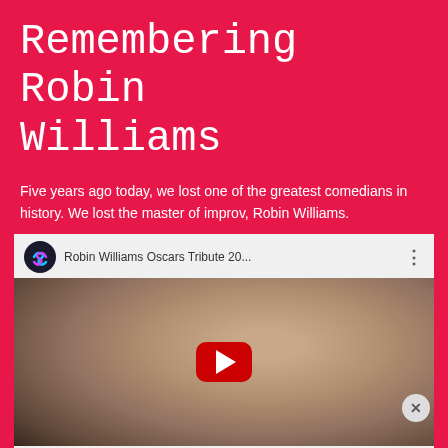Remembering Robin Williams
Five years ago today, we lost one of the greatest comedians in history. We lost the master of improv, Robin Williams.
[Figure (screenshot): YouTube video thumbnail showing Robin Williams Oscars Tribute 20... with a photo of Robin Williams and the text '1951-2014' below, with a red YouTube play button overlay]
[Figure (screenshot): DuckDuckGo advertisement banner: Search, browse, and email with more privacy. All in One Free App]